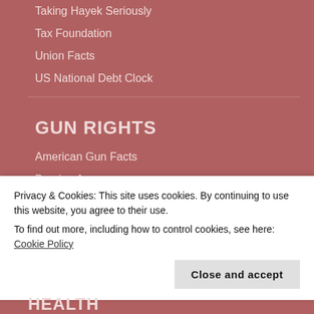Taking Hayek Seriously
Tax Foundation
Union Facts
US National Debt Clock
GUN RIGHTS
American Gun Facts
Bearing Arms
Gun Owners of America
John Lott
National Association for Gun Rights
National Rifle Association
Self-Defense
Privacy & Cookies: This site uses cookies. By continuing to use this website, you agree to their use.
To find out more, including how to control cookies, see here: Cookie Policy
HEALTH